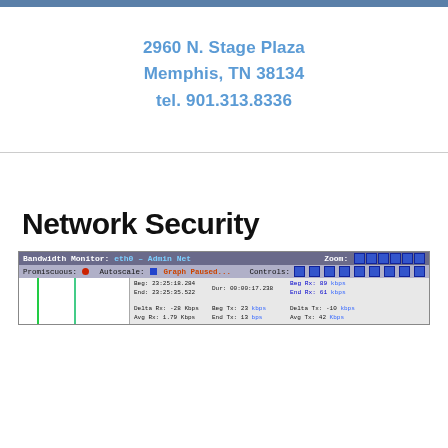2960 N. Stage Plaza
Memphis, TN 38134
tel. 901.313.8336
Network Security
[Figure (screenshot): Bandwidth Monitor screenshot showing eth0 - Admin Net interface. Graph Paused. Promiscuous: red dot. Autoscale: blue square. Zoom and Controls buttons on right. Data row showing: Beg: 23:25:18.284, Dur: 00:00:17.238, Beg Rx: 89 kbps, End Rx: 61 kbps, Delta Rx: -28 Kbps, Avg Rx: 1.79 Kbps, Beg Tx: 23 kbps, End Tx: 13 bps, Delta Tx: -10 kbps, Avg Tx: 42 Kbps. End: 23:25:35.522.]